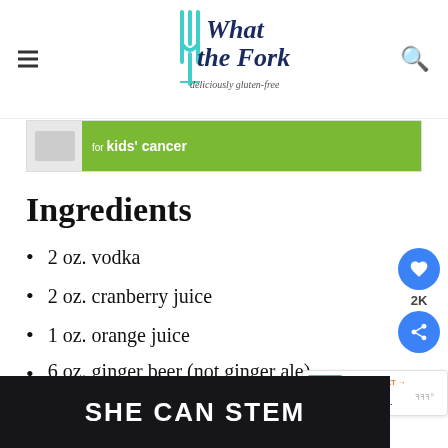What the Fork — deliciously gluten-free
[Figure (screenshot): Advertisement banner for kids' cancer charity with green background]
Ingredients
2 oz. vodka
2 oz. cranberry juice
1 oz. orange juice
6 oz. ginger beer (not ginger ale)
orange slices for garnish
[Figure (screenshot): SHE CAN STEM advertisement banner at bottom]